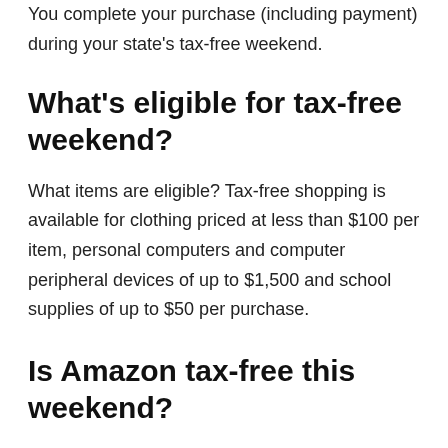You complete your purchase (including payment) during your state's tax-free weekend.
What's eligible for tax-free weekend?
What items are eligible? Tax-free shopping is available for clothing priced at less than $100 per item, personal computers and computer peripheral devices of up to $1,500 and school supplies of up to $50 per purchase.
Is Amazon tax-free this weekend?
Yes and no. Amazon doesn't have its own special tax-free weekend. So, as long as you're shopping Amazon during your state's tax holiday weekend and what you buy